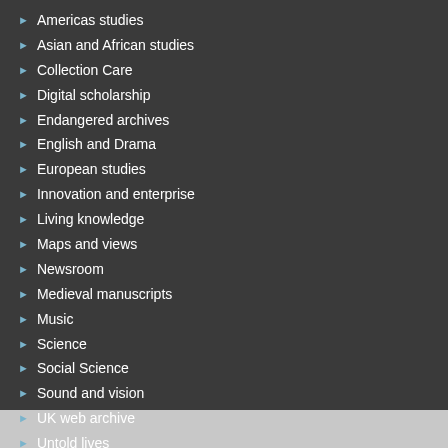Americas studies
Asian and African studies
Collection Care
Digital scholarship
Endangered archives
English and Drama
European studies
Innovation and enterprise
Living knowledge
Maps and views
Newsroom
Medieval manuscripts
Music
Science
Social Science
Sound and vision
UK web archive
Untold lives